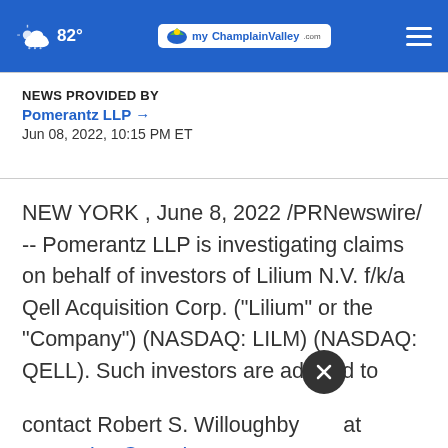82° myChamplainValley.com
NEWS PROVIDED BY
Pomerantz LLP →
Jun 08, 2022, 10:15 PM ET
NEW YORK , June 8, 2022 /PRNewswire/ -- Pomerantz LLP is investigating claims on behalf of investors of Lilium N.V. f/k/a Qell Acquisition Corp. ("Lilium" or the "Company") (NASDAQ: LILM) (NASDAQ: QELL). Such investors are advised to contact Robert S. Willoughby at newaction@pomlaw.com or 888-476-6529, ext. 7980